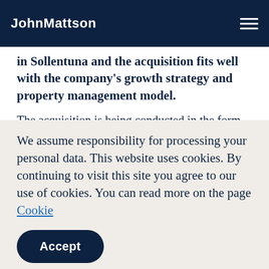JohnMattson
in Sollentuna and the acquisition fits well with the company's growth strategy and property management model.
The acquisition is being conducted in the form of a corporate wrapper with an acquisition price of SEK 867 million after deduction of deferred tax of SEK 35 million. The seller is Sollentuna Stadshus
We assume responsibility for processing your personal data. This website uses cookies. By continuing to visit this site you agree to our use of cookies. You can read more on the page Cookie
Accept